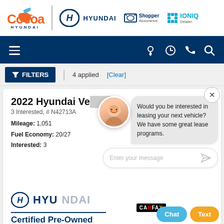[Figure (logo): Cocoa Hyundai dealership header with Hyundai logo, Shopper Assurance badge, and IONIQ Dealer badge]
[Figure (screenshot): Navigation bar with hamburger menu and icons for location, clock, phone, and search on dark blue background]
FILTERS | 4 applied [Clear]
2022 Hyundai VE
3 Interested, # N42713A
Mileage: 1,051
Fuel Economy: 20/27
Interested: 3
[Figure (screenshot): Chat overlay with avatar photo of smiling man, speech bubble saying 'Would you be interested in leasing your next vehicle? We have some great lease programs.' and message input field]
[Figure (logo): Hyundai logo and HYUNDAI text with Certified Pre-Owned badge and CARFAX logo]
Certified Pre-Owned
Online Price
$40,209
Chat
Text